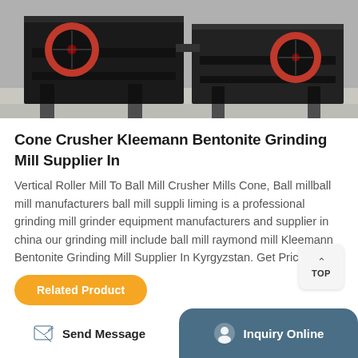[Figure (photo): Industrial cone crusher machine, black metal frame with red wheels, photographed in a warehouse/factory setting.]
Cone Crusher Kleemann Bentonite Grinding Mill Supplier In
Vertical Roller Mill To Ball Mill Crusher Mills Cone, Ball millball mill manufacturers ball mill suppli liming is a professional grinding mill grinder equipment manufacturers and supplier in china our grinding mill include ball mill raymond mill Kleemann Bentonite Grinding Mill Supplier In Kyrgyzstan. Get Price
Related Product
Send Message   Inquiry Online